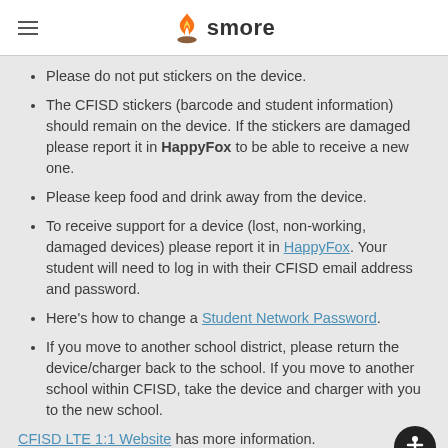smore
Please do not put stickers on the device.
The CFISD stickers (barcode and student information) should remain on the device. If the stickers are damaged please report it in HappyFox to be able to receive a new one.
Please keep food and drink away from the device.
To receive support for a device (lost, non-working, damaged devices) please report it in HappyFox. Your student will need to log in with their CFISD email address and password.
Here's how to change a Student Network Password.
If you move to another school district, please return the device/charger back to the school. If you move to another school within CFISD, take the device and charger with you to the new school.
CFISD LTE 1:1 Website has more information.